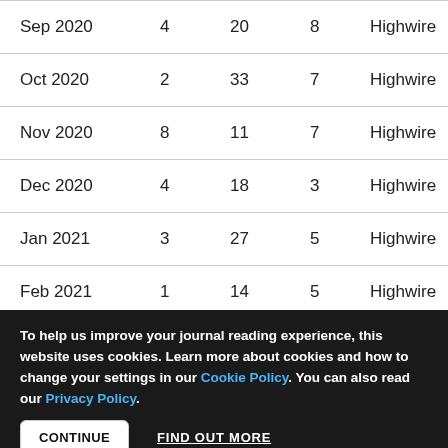|  |  |  |  |  |
| --- | --- | --- | --- | --- |
| Sep 2020 | 4 | 20 | 8 | Highwire |
| Oct 2020 | 2 | 33 | 7 | Highwire |
| Nov 2020 | 8 | 11 | 7 | Highwire |
| Dec 2020 | 4 | 18 | 3 | Highwire |
| Jan 2021 | 3 | 27 | 5 | Highwire |
| Feb 2021 | 1 | 14 | 5 | Highwire |
To help us improve your journal reading experience, this website uses cookies. Learn more about cookies and how to change your settings in our Cookie Policy. You can also read our Privacy Policy.
CONTINUE   FIND OUT MORE